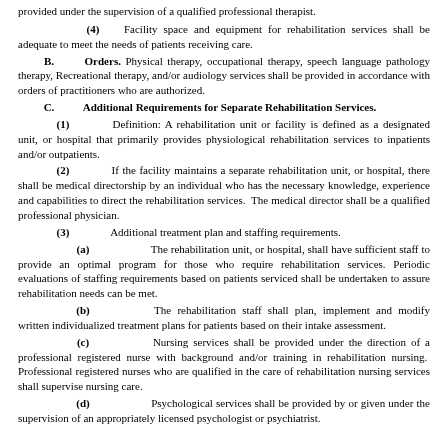provided under the supervision of a qualified professional therapist.
(4) Facility space and equipment for rehabilitation services shall be adequate to meet the needs of patients receiving care.
B. Orders. Physical therapy, occupational therapy, speech language pathology therapy, Recreational therapy, and/or audiology services shall be provided in accordance with orders of practitioners who are authorized.
C. Additional Requirements for Separate Rehabilitation Services.
(1) Definition: A rehabilitation unit or facility is defined as a designated unit, or hospital that primarily provides physiological rehabilitation services to inpatients and/or outpatients.
(2) If the facility maintains a separate rehabilitation unit, or hospital, there shall be medical directorship by an individual who has the necessary knowledge, experience and capabilities to direct the rehabilitation services. The medical director shall be a qualified professional physician.
(3) Additional treatment plan and staffing requirements.
(a) The rehabilitation unit, or hospital, shall have sufficient staff to provide an optimal program for those who require rehabilitation services. Periodic evaluations of staffing requirements based on patients serviced shall be undertaken to assure rehabilitation needs can be met.
(b) The rehabilitation staff shall plan, implement and modify written individualized treatment plans for patients based on their intake assessment.
(c) Nursing services shall be provided under the direction of a professional registered nurse with background and/or training in rehabilitation nursing. Professional registered nurses who are qualified in the care of rehabilitation nursing services shall supervise nursing care.
(d) Psychological services shall be provided by or given under the supervision of an appropriately licensed psychologist or psychiatrist.